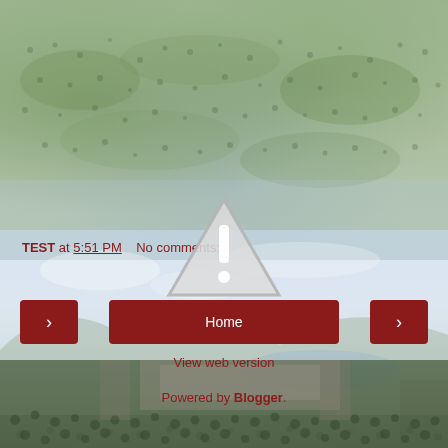[Figure (photo): Aerial view of outdoor festival/concert crowd on green grass, top portion of image with semi-transparent overlay]
[Figure (illustration): Warning triangle icon with exclamation mark, semi-transparent, centered over the image composite]
[Figure (photo): Outdoor amphitheater/concert venue aerial view with landscape and sky, semi-transparent background]
TEST at 5:51 PM    No comments:
Share
Home
View web version
Powered by Blogger.